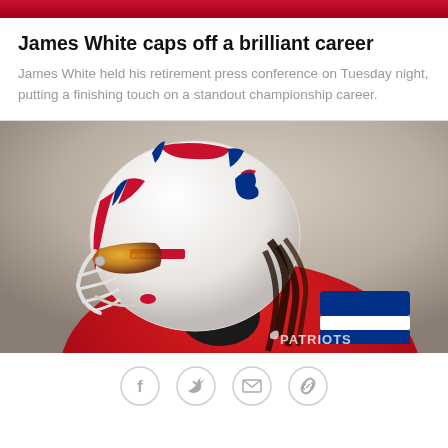[Figure (photo): Red banner/bar at top of page]
James White caps off a brilliant career
James White held his retirement press conference on Tuesday night, putting a finishing touch on a standout championship career.
[Figure (photo): New England Patriots player wearing a white throwback Patriots helmet with red and blue stripes and the old Patriots logo, dressed in a red jersey. PATRIOTS watermark visible in bottom right corner.]
[Figure (infographic): Social sharing icons: Facebook, Twitter, Email, Link/chain]